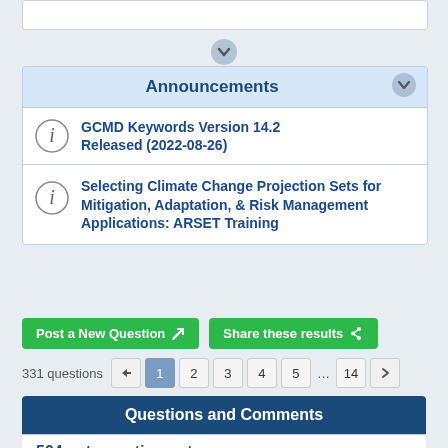Announcements
GCMD Keywords Version 14.2 Released (2022-08-26)
Selecting Climate Change Projection Sets for Mitigation, Adaptation, & Risk Management Applications: ARSET Training
Post a New Question   Share these results
331 questions  1  2  3  4  5  ...  14
Questions and Comments
504 gateway timeout